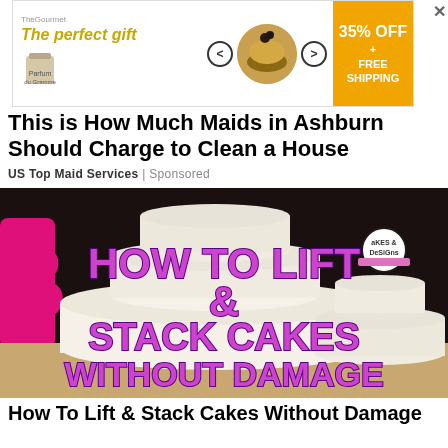[Figure (screenshot): Advertisement banner: 'The perfect gift' with bowl/food image, navigation arrows, and '35% OFF + FREE SHIPPING' badge in orange]
This is How Much Maids in Ashburn Should Charge to Clean a House
US Top Maid Services | Sponsored
[Figure (photo): Photo of tiered white fondant cakes in a bakery setting with pink/magenta letter decorations, overlaid with bold purple text: 'HOW TO LIFT & STACK CAKES WITHOUT DAMAGE']
How To Lift & Stack Cakes Without Damage